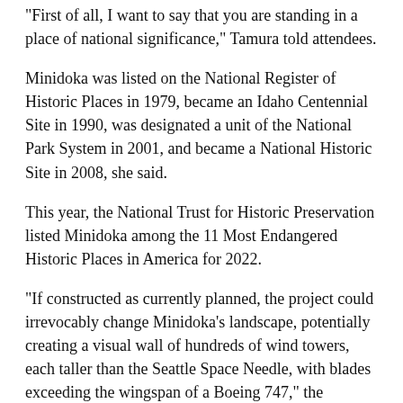“First of all, I want to say that you are standing in a place of national significance,” Tamura told attendees.
Minidoka was listed on the National Register of Historic Places in 1979, became an Idaho Centennial Site in 1990, was designated a unit of the National Park System in 2001, and became a National Historic Site in 2008, she said.
This year, the National Trust for Historic Preservation listed Minidoka among the 11 Most Endangered Historic Places in America for 2022.
“If constructed as currently planned, the project could irrevocably change Minidoka’s landscape, potentially creating a visual wall of hundreds of wind towers, each taller than the Seattle Space Needle, with blades exceeding the wingspan of a Boeing 747,” the National Trust for Historic Preservation wrote in the announcement.
Erin Shigaki, whose father was born at the Minidoka site,